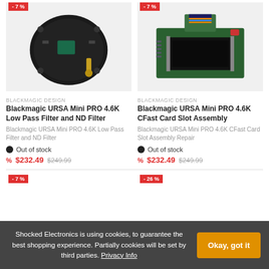[Figure (photo): Blackmagic URSA Mini PRO 4.6K Low Pass Filter and ND Filter component photo]
[Figure (photo): Blackmagic URSA Mini PRO 4.6K CFast Card Slot Assembly component photo]
BLACKMAGIC DESIGN
Blackmagic URSA Mini PRO 4.6K Low Pass Filter and ND Filter
Blackmagic URSA Mini PRO 4.6K Low Pass Filter and ND Filter
Out of stock
% $232.49 $249.99
BLACKMAGIC DESIGN
Blackmagic URSA Mini PRO 4.6K CFast Card Slot Assembly
Blackmagic URSA Mini PRO 4.6K CFast Card Slot Assembly Repair
Out of stock
% $232.49 $249.99
Shocked Electronics is using cookies, to guarantee the best shopping experience. Partially cookies will be set by third parties. Privacy Info